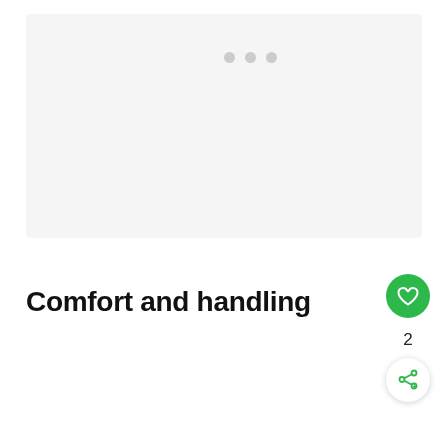[Figure (other): Light gray image placeholder area with carousel dots at top center]
Comfort and handling